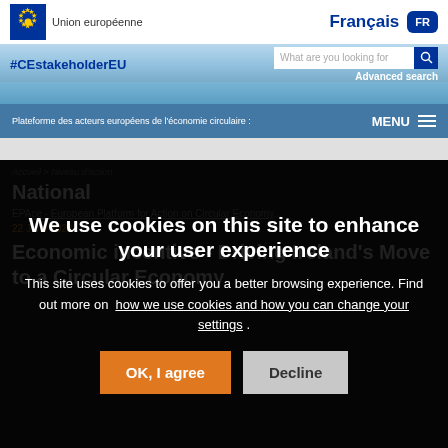Union européenne | Français FR
#CEstakeholderEU | What are you looking for | Advanced search
Plateforme des acteurs européens de l'économie circulaire | MENU
Accueil > Niveau d'action
National
EPACE - European Platform for Action on...
22 June 2022
Economic incentive - Driving Ireland's Move to a Circular Economy
We use cookies on this site to enhance your user experience
This site uses cookies to offer you a better browsing experience. Find out more on how we use cookies and how you can change your settings .
OK, I agree | Decline